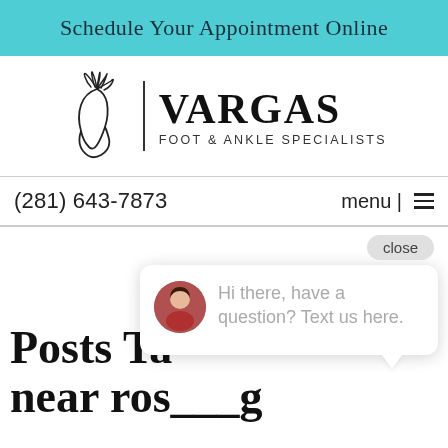Schedule Your Appointment Online
[Figure (logo): Vargas Foot & Ankle Specialists logo with stylized foot drawing and text]
(281) 643-7873
menu
close
Hi there, have a question? Text us here.
Posts Tagged near ros___g
Accept
Your browser settings do not allow cross-site tracking for advertising. Click on this to allow AdRoll to use cross-site tracking to tailor ads to you. Learn more or opt out of this AdRoll tracking by clicking here. This message only appears once.
Podiatrist ne...